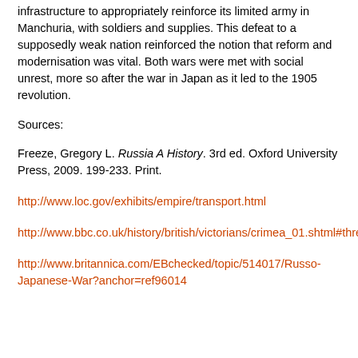infrastructure to appropriately reinforce its limited army in Manchuria, with soldiers and supplies. This defeat to a supposedly weak nation reinforced the notion that reform and modernisation was vital. Both wars were met with social unrest, more so after the war in Japan as it led to the 1905 revolution.
Sources:
Freeze, Gregory L. Russia A History. 3rd ed. Oxford University Press, 2009. 199-233. Print.
http://www.loc.gov/exhibits/empire/transport.html
http://www.bbc.co.uk/history/british/victorians/crimea_01.shtml#three
http://www.britannica.com/EBchecked/topic/514017/Russo-Japanese-War?anchor=ref96014